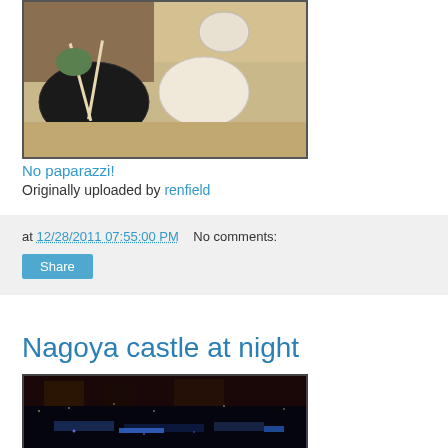[Figure (photo): Photo of Japanese food on a dining table with chopsticks and various dishes]
No paparazzi!
Originally uploaded by renfield
at 12/28/2011 07:55:00 PM   No comments:
Share
Nagoya castle at night
[Figure (photo): Nighttime cityscape photo of Nagoya with city lights and buildings visible in the dark]